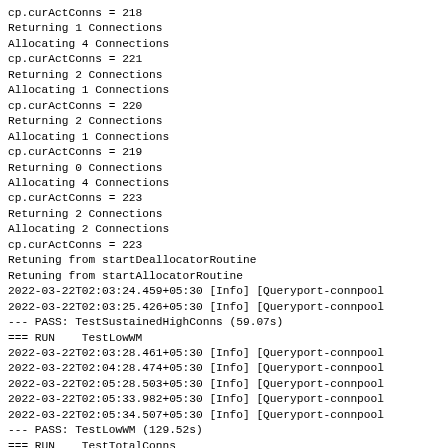cp.curActConns = 218
Returning 1 Connections
Allocating 4 Connections
cp.curActConns = 221
Returning 2 Connections
Allocating 1 Connections
cp.curActConns = 220
Returning 2 Connections
Allocating 1 Connections
cp.curActConns = 219
Returning 0 Connections
Allocating 4 Connections
cp.curActConns = 223
Returning 2 Connections
Allocating 2 Connections
cp.curActConns = 223
Retuning from startDeallocatorRoutine
Retuning from startAllocatorRoutine
2022-03-22T02:03:24.459+05:30 [Info] [Queryport-connpool
2022-03-22T02:03:25.426+05:30 [Info] [Queryport-connpool
--- PASS: TestSustainedHighConns (59.07s)
=== RUN    TestLowWM
2022-03-22T02:03:28.461+05:30 [Info] [Queryport-connpool
2022-03-22T02:04:28.474+05:30 [Info] [Queryport-connpool
2022-03-22T02:05:28.503+05:30 [Info] [Queryport-connpool
2022-03-22T02:05:33.982+05:30 [Info] [Queryport-connpool
2022-03-22T02:05:34.507+05:30 [Info] [Queryport-connpool
--- PASS: TestLowWM (129.52s)
=== RUN    TestTotalConns
2022-03-22T02:05:37.984+05:30 [Info] [Queryport-connpool